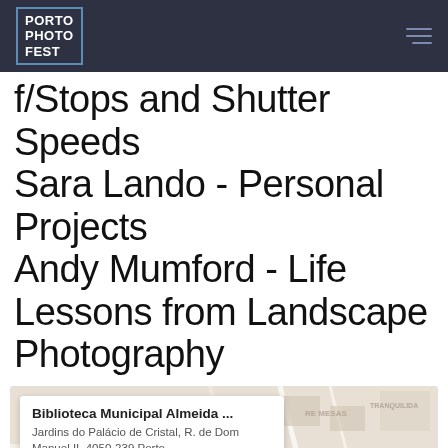PORTO PHOTO FEST
f/Stops and Shutter Speeds
Sara Lando - Personal Projects
Andy Mumford - Life Lessons from Landscape Photography
[Figure (map): Google Maps embed showing Biblioteca Municipal Almeida location in Porto, with a card overlay showing name, address (Jardins do Palácio de Cristal, R. de Dom Manuel II, 4050-239 Porto), rating 4.6 with stars, and a 'View larger map' link.]